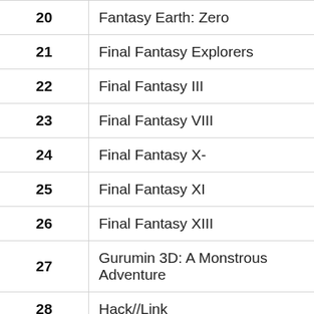| # | Title |
| --- | --- |
| 20 | Fantasy Earth: Zero |
| 21 | Final Fantasy Explorers |
| 22 | Final Fantasy III |
| 23 | Final Fantasy VIII |
| 24 | Final Fantasy X- |
| 25 | Final Fantasy XI |
| 26 | Final Fantasy XIII |
| 27 | Gurumin 3D: A Monstrous Adventure |
| 28 | Hack//Link |
| 29 | Heroes of Incredible Tales |
| 30 | Infinite Undiscovery |
| 31 | Joe Dever&#s Lone Wolf |
| 32 | Kingdom Hearts: Birth by Sleep |
| 33 | Kingdom of Paradise |